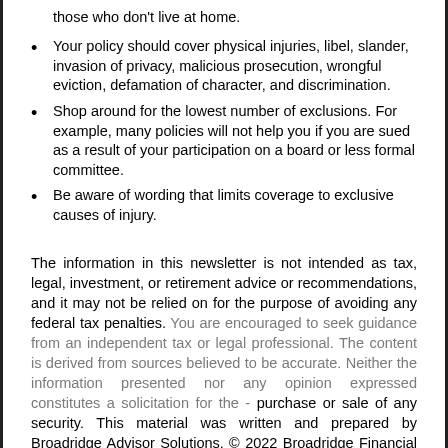those who don't live at home.
Your policy should cover physical injuries, libel, slander, invasion of privacy, malicious prosecution, wrongful eviction, defamation of character, and discrimination.
Shop around for the lowest number of exclusions. For example, many policies will not help you if you are sued as a result of your participation on a board or less formal committee.
Be aware of wording that limits coverage to exclusive causes of injury.
The information in this newsletter is not intended as tax, legal, investment, or retirement advice or recommendations, and it may not be relied on for the purpose of avoiding any federal tax penalties. You are encouraged to seek guidance from an independent tax or legal professional. The content is derived from sources believed to be accurate. Neither the information presented nor any opinion expressed constitutes a solicitation for the purchase or sale of any security. This material was written and prepared by Broadridge Advisor Solutions. © 2022 Broadridge Financial Solutions, Inc.